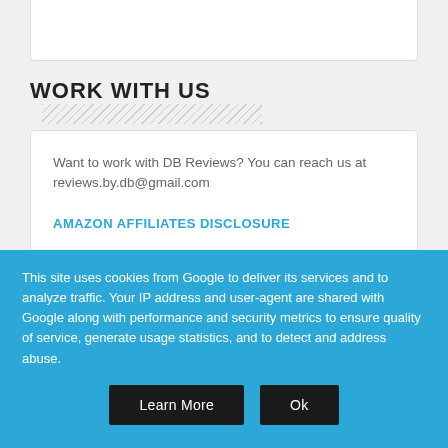WORK WITH US
Want to work with DB Reviews? You can reach us at reviews.by.db@gmail.com
AMAZON AFFILIATES DISCLOSURE
As an Amazon Associate DB Reviews earns from qualifying purchases.
DB Reviews is a participant in the Amazon Services LLC
This site uses cookies from Google to deliver its services and to analyze traffic. Your IP address and user-agent are shared with Google along with performance and security metrics to ensure quality of service, generate usage statistics, and to detect and address abuse.